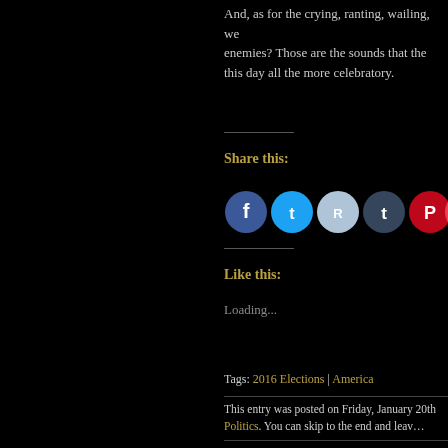And, as for the crying, ranting, wailing, we… enemies? Those are the sounds that the… this day all the more celebratory.
Share this:
[Figure (infographic): Row of social media sharing icon circles: Facebook (blue), Twitter (cyan), Reddit (light blue), Tumblr (dark blue), Pinterest (red), Pocket (red), Email (light gray)]
Like this:
Loading...
Tags: 2016 Elections | America…
This entry was posted on Friday, January 20th… Politics. You can skip to the end and leav…